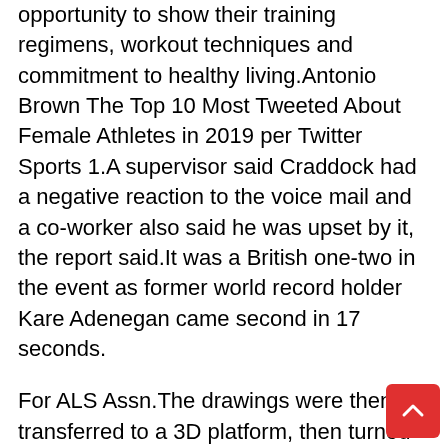opportunity to show their training regimens, workout techniques and commitment to healthy living.Antonio Brown The Top 10 Most Tweeted About Female Athletes in 2019 per Twitter Sports 1.A supervisor said Craddock had a negative reaction to the voice mail and a co-worker also said he was upset by it, the report said.It was a British one-two in the event as former world record holder Kare Adenegan came second in 17 seconds.
For ALS Assn.The drawings were then transferred to a 3D platform, then turned into light sculptures.In the follow-up, Rice, the same guy puts his waterlogged phone in a bag of rice in an attempt to resuscitate it.In hindsight, Kapler and Giants president of baseball operations Farhan Zaidi, who was then the Dodgers' general manager, said they wished they had been more supportive of the young woman and asked for advice from the outside.Kevin Pillar is covering center field in